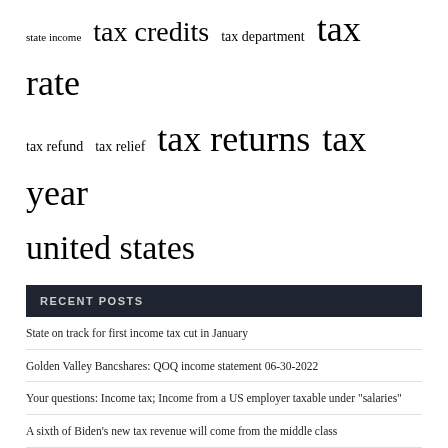state income  tax credits  tax department  tax rate  tax refund  tax relief  tax returns  tax year  united states
RECENT POSTS
State on track for first income tax cut in January
Golden Valley Bancshares: QOQ income statement 06-30-2022
Your questions: Income tax; Income from a US employer taxable under "salaries"
A sixth of Biden's new tax revenue will come from the middle class
Income tax alert: India plans to revise its tax exemption scheme